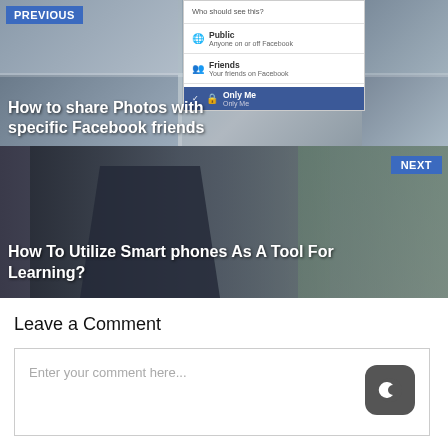[Figure (screenshot): Previous article banner showing Facebook privacy settings screenshot overlay and article title 'How to share Photos with specific Facebook friends' with PREVIOUS navigation label]
[Figure (photo): Next article banner showing man using smartphone with article title 'How To Utilize Smart phones As A Tool For Learning?' and NEXT navigation label]
Leave a Comment
Enter your comment here...